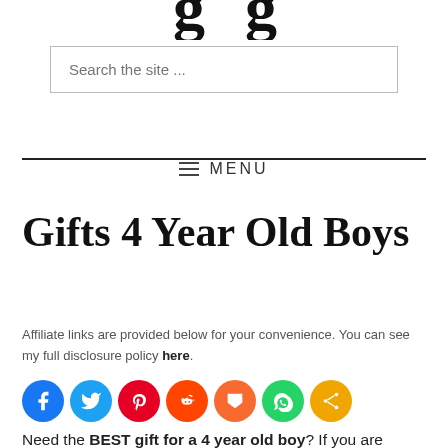g g
Search the site ...
≡ MENU
Gifts 4 Year Old Boys
Affiliate links are provided below for your convenience. You can see my full disclosure policy here.
[Figure (other): Social media share icons: Facebook, Twitter, Pinterest, Reddit, Mix, WhatsApp, Share]
Need the BEST gift for a 4 year old boy? If you are shopping for the top gift ideas for a boys 4th birthday,